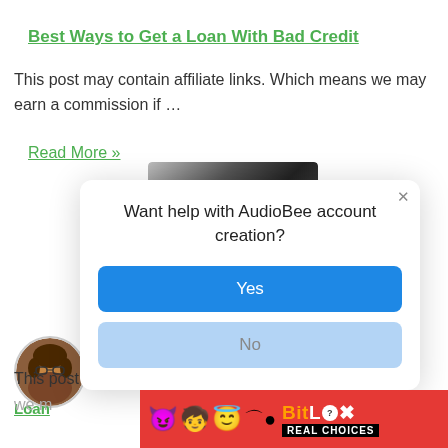Best Ways to Get a Loan With Bad Credit
This post may contain affiliate links. Which means we may earn a commission if …
Read More »
[Figure (photo): Partial photo of a person, partially obscured by modal dialog]
Want help with AudioBee account creation?
Yes
No
[Figure (photo): Circular avatar portrait of a woman with glasses and brown hair]
s
Loan
This post may contain affiliate links. Which means
we m
[Figure (screenshot): BitLife advertisement banner with emoji characters and red background, showing REAL CHOICES tagline]